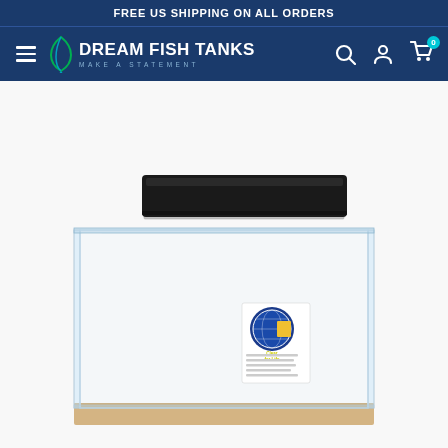FREE US SHIPPING ON ALL ORDERS
[Figure (logo): Dream Fish Tanks logo with fish icon and tagline MAKE A STATEMENT on dark blue navigation bar]
[Figure (photo): Clear acrylic fish tank with black LED light fixture on top, product sticker on the front, sitting on a light wood-colored base, photographed on white background]